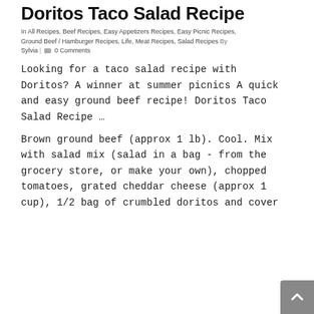Doritos Taco Salad Recipe
In All Recipes, Beef Recipes, Easy Appetizers Recipes, Easy Picnic Recipes, Ground Beef / Hamburger Recipes, Life, Meat Recipes, Salad Recipes By Sylvia | 0 Comments
Looking for a taco salad recipe with Doritos? A winner at summer picnics A quick and easy ground beef recipe! Doritos Taco Salad Recipe …
Brown ground beef (approx 1 lb). Cool. Mix with salad mix (salad in a bag - from the grocery store, or make your own), chopped tomatoes, grated cheddar cheese (approx 1 cup), 1/2 bag of crumbled doritos and cover